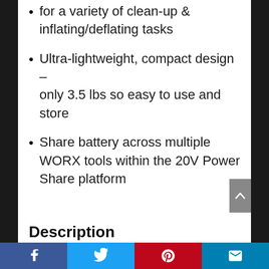for a variety of clean-up & inflating/deflating tasks
Ultra-lightweight, compact design – only 3.5 lbs so easy to use and store
Share battery across multiple WORX tools within the 20V Power Share platform
Description
Spring will be here before you know it and the WORX AIR is your ideal partner for spring clean-up. WORX AIR is a multi-purpose
Facebook | Twitter | Pinterest | Email